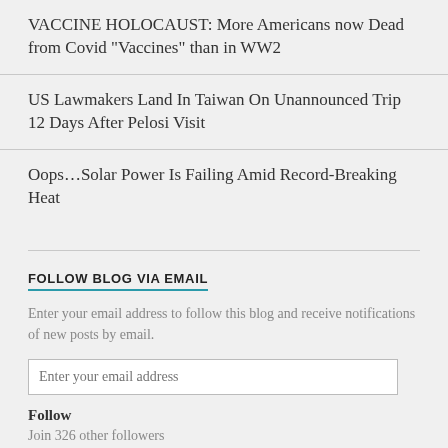VACCINE HOLOCAUST: More Americans now Dead from Covid “Vaccines” than in WW2
US Lawmakers Land In Taiwan On Unannounced Trip 12 Days After Pelosi Visit
Oops…Solar Power Is Failing Amid Record-Breaking Heat
FOLLOW BLOG VIA EMAIL
Enter your email address to follow this blog and receive notifications of new posts by email.
Enter your email address
Follow
Join 326 other followers